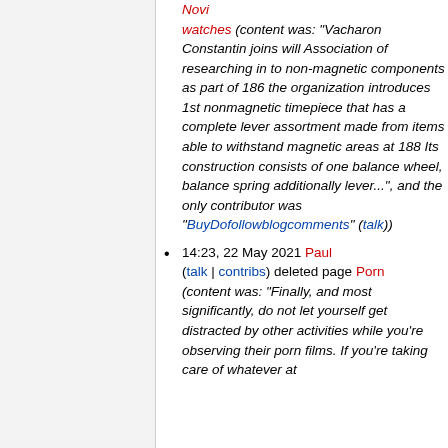(talk | contribs) deleted page Novi watches (content was: "Vacharon Constantin joins will Association of researching in to non-magnetic components as part of 186 the organization introduces 1st nonmagnetic timepiece that has a complete lever assortment made from items able to withstand magnetic areas at 188 Its construction consists of one balance wheel, balance spring additionally lever...", and the only contributor was "BuyDofollowblogcomments" (talk))
14:23, 22 May 2021 Paul (talk | contribs) deleted page Porn (content was: "Finally, and most significantly, do not let yourself get distracted by other activities while you're observing their porn films. If you're taking care of whatever at